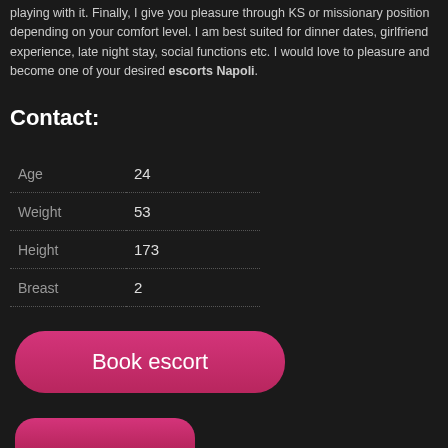playing with it. Finally, I give you pleasure through KS or missionary position depending on your comfort level. I am best suited for dinner dates, girlfriend experience, late night stay, social functions etc. I would love to pleasure and become one of your desired escorts Napoli.
Contact:
| Age | 24 |
| Weight | 53 |
| Height | 173 |
| Breast | 2 |
Book escort